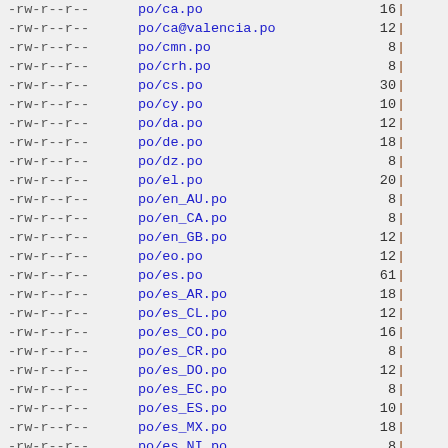-rw-r--r-- po/ca.po 16
-rw-r--r-- po/ca@valencia.po 12
-rw-r--r-- po/cmn.po 8
-rw-r--r-- po/crh.po 8
-rw-r--r-- po/cs.po 30
-rw-r--r-- po/cy.po 10
-rw-r--r-- po/da.po 12
-rw-r--r-- po/de.po 18
-rw-r--r-- po/dz.po 8
-rw-r--r-- po/el.po 20
-rw-r--r-- po/en_AU.po 8
-rw-r--r-- po/en_CA.po 8
-rw-r--r-- po/en_GB.po 12
-rw-r--r-- po/eo.po 12
-rw-r--r-- po/es.po 61
-rw-r--r-- po/es_AR.po 18
-rw-r--r-- po/es_CL.po 12
-rw-r--r-- po/es_CO.po 16
-rw-r--r-- po/es_CR.po 8
-rw-r--r-- po/es_DO.po 12
-rw-r--r-- po/es_EC.po 8
-rw-r--r-- po/es_ES.po 10
-rw-r--r-- po/es_MX.po 18
-rw-r--r-- po/es_NI.po 8